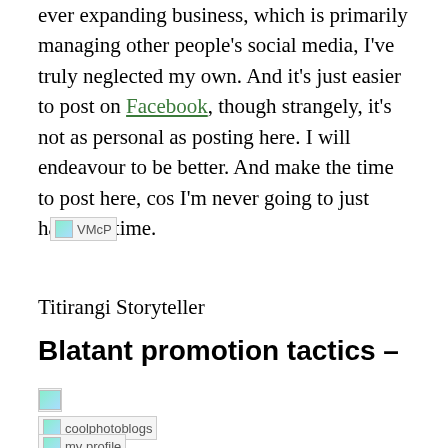ever expanding business, which is primarily managing other people's social media, I've truly neglected my own. And it's just easier to post on Facebook, though strangely, it's not as personal as posting here. I will endeavour to be better. And make the time to post here, cos I'm never going to just have the time.
[Figure (photo): Broken image placeholder labeled VMcP]
Titirangi Storyteller
Blatant promotion tactics –
[Figure (photo): Small broken image placeholder]
[Figure (photo): Broken image placeholder labeled coolphotoblogs]
[Figure (photo): Broken image placeholder labeled my profile]